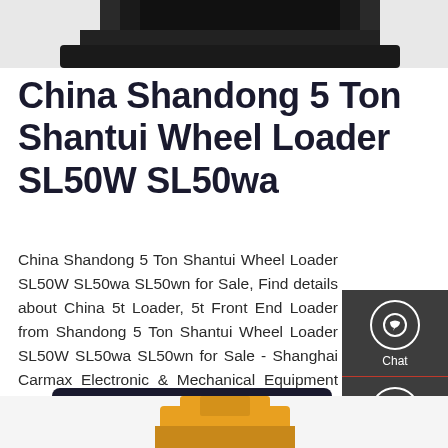[Figure (photo): Partial top view of a dark/black wheel loader machine, cropped at top of page]
China Shandong 5 Ton Shantui Wheel Loader SL50W SL50wa
China Shandong 5 Ton Shantui Wheel Loader SL50W SL50wa SL50wn for Sale, Find details about China 5t Loader, 5t Front End Loader from Shandong 5 Ton Shantui Wheel Loader SL50W SL50wa SL50wn for Sale - Shanghai Carmax Electronic & Mechanical Equipment Co., Ltd.
[Figure (infographic): Sidebar with Chat, Email, and Contact icons on dark grey background]
[Figure (photo): Get a Quote button — dark navy rounded rectangle]
[Figure (photo): Partial bottom view of yellow wheel loader machine, cropped at bottom of page]